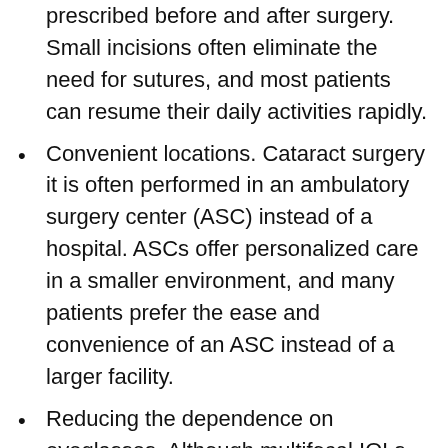prescribed before and after surgery. Small incisions often eliminate the need for sutures, and most patients can resume their daily activities rapidly.
Convenient locations. Cataract surgery it is often performed in an ambulatory surgery center (ASC) instead of a hospital. ASCs offer personalized care in a smaller environment, and many patients prefer the ease and convenience of an ASC instead of a larger facility.
Reducing the dependence on eyeglasses. Although multifocal IOLs are usually not covered by insurance companies, many patients choose a multifocal lens so they will not have to wear eyeglasses. Multifocal lenses allow for clear distance and near